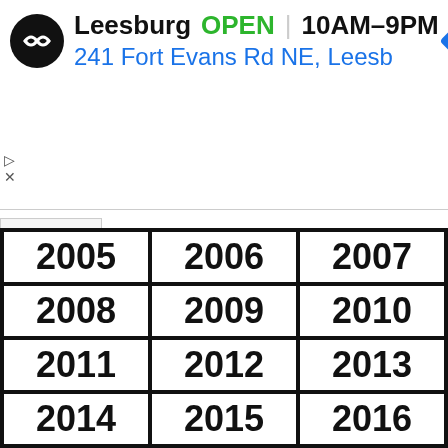[Figure (screenshot): Ad banner showing a store logo (black circle with white arrows icon), store name 'Leesburg', status 'OPEN', hours '10AM-9PM', address '241 Fort Evans Rd NE, Leesb', and a blue navigation diamond icon. Small play and close controls at left.]
| 2005 | 2006 | 2007 |
| 2008 | 2009 | 2010 |
| 2011 | 2012 | 2013 |
| 2014 | 2015 | 2016 |